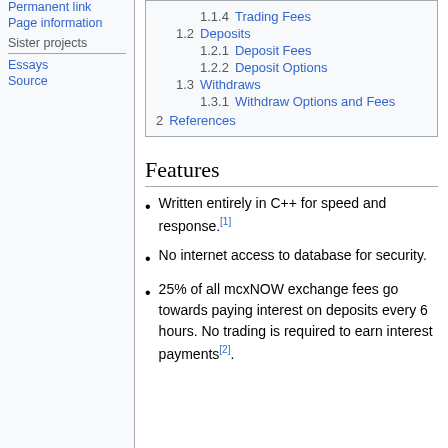Permanent link
Page information
Sister projects
Essays
Source
1.1.4  Trading Fees
1.2  Deposits
1.2.1  Deposit Fees
1.2.2  Deposit Options
1.3  Withdraws
1.3.1  Withdraw Options and Fees
2  References
Features
Written entirely in C++ for speed and response.[1]
No internet access to database for security.
25% of all mcxNOW exchange fees go towards paying interest on deposits every 6 hours. No trading is required to earn interest payments[2].